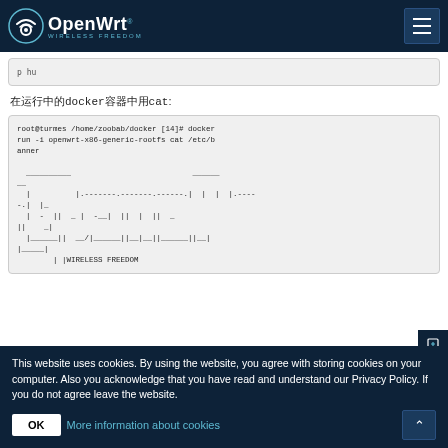OpenWrt — Wireless Freedom
在运行中的docker容器中用cat:
[Figure (screenshot): Code block showing terminal command: root@turmes /home/zoobab/docker [14]# docker run -i openwrt-x86-generic-rootfs cat /etc/banner followed by ASCII art banner output showing OpenWrt logo in text art with WIRELESS FREEDOM text]
This website uses cookies. By using the website, you agree with storing cookies on your computer. Also you acknowledge that you have read and understand our Privacy Policy. If you do not agree leave the website.